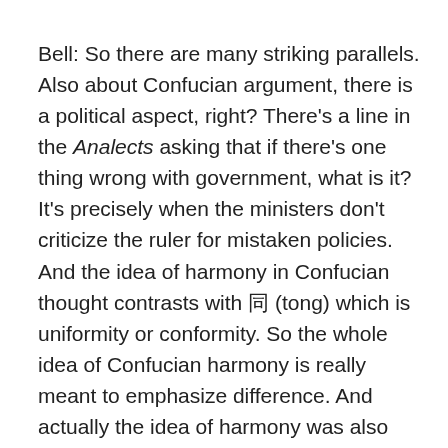Bell: So there are many striking parallels. Also about Confucian argument, there is a political aspect, right? There's a line in the Analects asking that if there's one thing wrong with government, what is it? It's precisely when the ministers don't criticize the ruler for mistaken policies. And the idea of harmony in Confucian thought contrasts with 同 (tong) which is uniformity or conformity. So the whole idea of Confucian harmony is really meant to emphasize difference. And actually the idea of harmony was also used in a political context in the Zuo Zhuan, again, arguing that the emperor for the ruler should listen to diverse views including criticisms only then could he correct mistaken policies. So anyway I think there's also a tradition of argument in the Confucian tradition. I don't